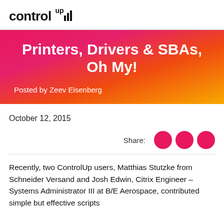[Figure (logo): ControlUp logo with stylized bar chart icon]
Printers, Drivers & SBAs, Oh My!
Posted by Zeev Eisenberg
October 12, 2015
Share:
Recently, two ControlUp users, Matthias Stutzke from Schneider Versand and Josh Edwin, Citrix Engineer – Systems Administrator III at B/E Aerospace, contributed simple but effective scripts